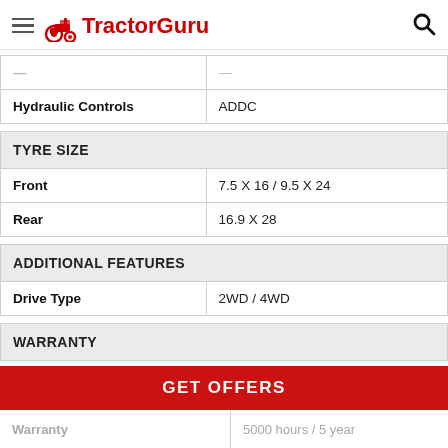TractorGuru
| Hydraulic Controls | ADDC |
| TYRE SIZE |  |
| --- | --- |
| Front | 7.5 X 16 / 9.5 X 24 |
| Rear | 16.9 X 28 |
| ADDITIONAL FEATURES |  |
| --- | --- |
| Drive Type | 2WD / 4WD |
| WARRANTY |  |
| --- | --- |
| Warranty | 5000 hours / 5 year |
GET OFFERS